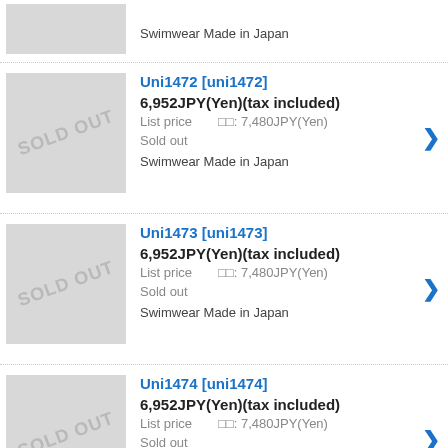Swimwear Made in Japan
Uni1472 [uni1472]
6,952JPY(Yen)(tax included)
List price: 7,480JPY(Yen)
Sold out
Swimwear Made in Japan
Uni1473 [uni1473]
6,952JPY(Yen)(tax included)
List price: 7,480JPY(Yen)
Sold out
Swimwear Made in Japan
Uni1474 [uni1474]
6,952JPY(Yen)(tax included)
List price: 7,480JPY(Yen)
Sold out
Swimwear Made in Japan